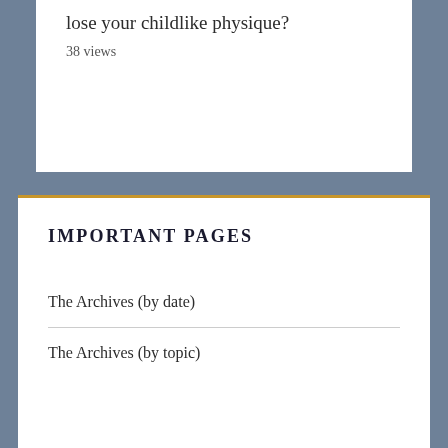At what stage of puberty do you start to lose your childlike physique?
38 views
IMPORTANT PAGES
The Archives (by date)
The Archives (by topic)